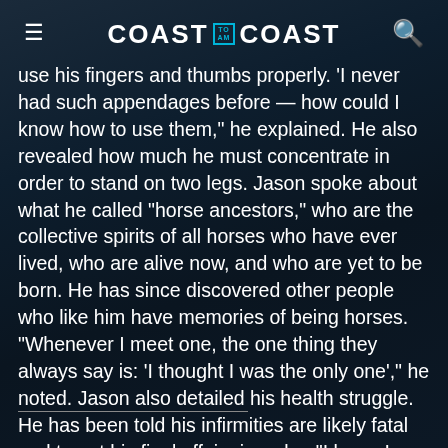COAST TO COAST AM
use his fingers and thumbs properly. 'I never had such appendages before — how could I know how to use them,' he explained. He also revealed how much he must concentrate in order to stand on two legs. Jason spoke about what he called "horse ancestors," who are the collective spirits of all horses who have ever lived, who are alive now, and who are yet to be born. He has since discovered other people who like him have memories of being horses. "Whenever I meet one, the one thing they always say is: 'I thought I was the only one'," he noted. Jason also detailed his health struggle. He has been told his infirmities are likely fatal and to get his final affairs in order. "I know I don't have much time," he said, adding it will be a relief to shed his human husk.